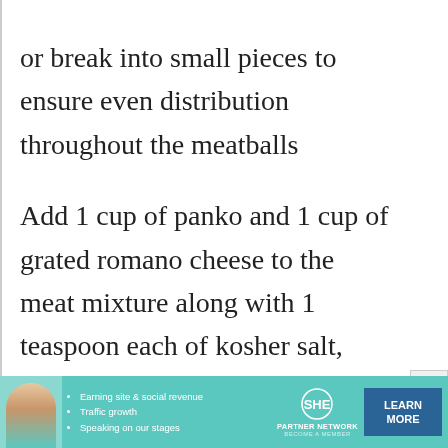or break into small pieces to ensure even distribution throughout the meatballs

Add 1 cup of panko and 1 cup of grated romano cheese to the meat mixture along with 1 teaspoon each of kosher salt, ground black pepper, garlic powder and onion powder. Next
[Figure (other): Advertisement banner for SHE Media Partner Network. Features a woman photo on left, bullet points: Earning site & social revenue, Traffic growth, Speaking on our stages. SHE logo with circle emblem in center. LEARN MORE button on right in dark blue.]